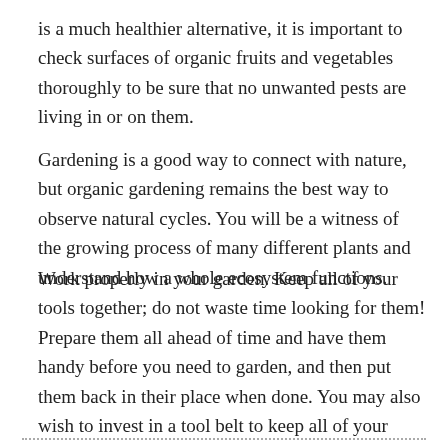is a much healthier alternative, it is important to check surfaces of organic fruits and vegetables thoroughly to be sure that no unwanted pests are living in or on them.
Gardening is a good way to connect with nature, but organic gardening remains the best way to observe natural cycles. You will be a witness of the growing process of many different plants and understand how a whole ecosystem functions.
Work properly in your garden. Keep all of your tools together; do not waste time looking for them! Prepare them all ahead of time and have them handy before you need to garden, and then put them back in their place when done. You may also wish to invest in a tool belt to keep all of your tools within reach while gardening.
...................................................................